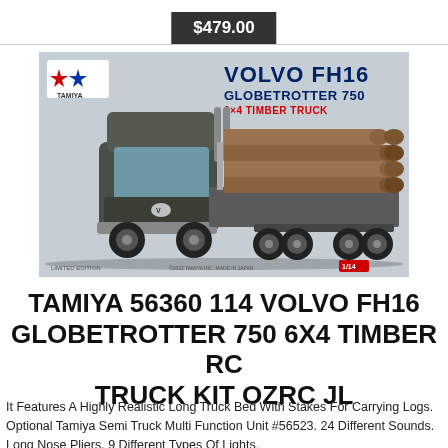$479.00
[Figure (photo): Product box art photo showing a Tamiya 56360 Volvo FH16 Globetrotter 750 6x4 Timber RC Truck Kit. The box shows a realistic dark grey/olive Volvo FH16 semi truck carrying a load of logs on a flatbed trailer with stakes. The Tamiya logo and 'VOLVO FH16 GLOBETROTTER 750 6×4 TIMBER TRUCK' text appears on the box art.]
TAMIYA 56360 114 VOLVO FH16 GLOBETROTTER 750 6X4 TIMBER RC TRUCK KIT OZRC JL
It Features A Highly Realistic Long Truck Bed With Stakes For Carrying Logs. Optional Tamiya Semi Truck Multi Function Unit #56523. 24 Different Sounds. Long Nose Pliers. 9 Different Types Of Lights.